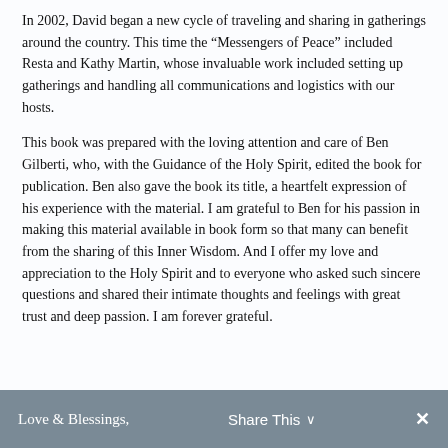In 2002, David began a new cycle of traveling and sharing in gatherings around the country. This time the “Messengers of Peace” included Resta and Kathy Martin, whose invaluable work included setting up gatherings and handling all communications and logistics with our hosts.
This book was prepared with the loving attention and care of Ben Gilberti, who, with the Guidance of the Holy Spirit, edited the book for publication. Ben also gave the book its title, a heartfelt expression of his experience with the material. I am grateful to Ben for his passion in making this material available in book form so that many can benefit from the sharing of this Inner Wisdom. And I offer my love and appreciation to the Holy Spirit and to everyone who asked such sincere questions and shared their intimate thoughts and feelings with great trust and deep passion. I am forever grateful.
Love & Blessings,    Share This    ✕